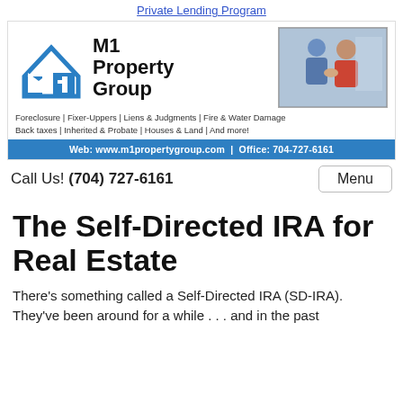Private Lending Program
[Figure (logo): M1 Property Group logo with blue house/M icon, company name in bold black text, and a photo of two men shaking hands. Below: tagline listing services (Foreclosure, Fixer-Uppers, Liens & Judgments, Fire & Water Damage, Back taxes, Inherited & Probate, Houses & Land, And more!). Blue bar: Web: www.m1propertygroup.com | Office: 704-727-6161]
Call Us! (704) 727-6161
The Self-Directed IRA for Real Estate
There's something called a Self-Directed IRA (SD-IRA). They've been around for a while... and in the past